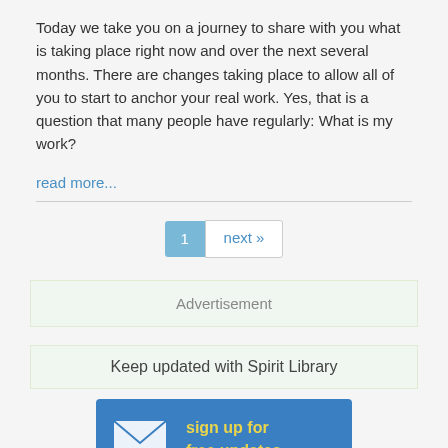Today we take you on a journey to share with you what is taking place right now and over the next several months. There are changes taking place to allow all of you to start to anchor your real work. Yes, that is a question that many people have regularly: What is my work?
read more...
1  next »
Advertisement
Keep updated with Spirit Library
[Figure (illustration): Sign up for free updates banner with envelope icon on blue background, yellow text reading 'sign up for free updates']